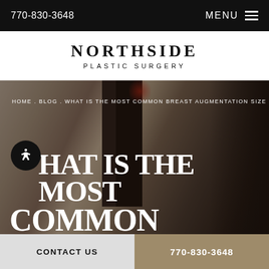770-830-3648  MENU
NORTHSIDE PLASTIC SURGERY
[Figure (photo): Interior hallway/reception area of a plastic surgery office with a dark door, brick wall, and decorative elements. Overlaid with breadcrumb navigation and large heading text.]
HOME . BLOG . WHAT IS THE MOST COMMON BREAST AUGMENTATION SIZE
WHAT IS THE MOST COMMON BREAST AUGMENTATION
CONTACT US  770-830-3648